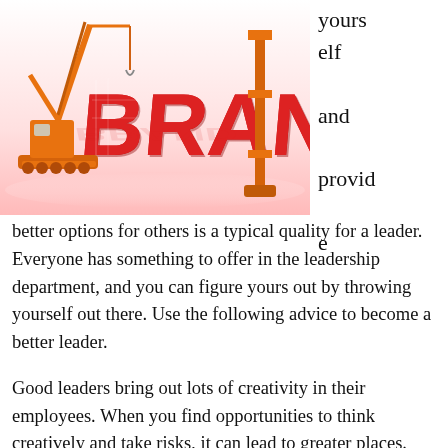[Figure (illustration): 3D illustration showing an orange construction crane next to large red 3D letters spelling BRAND being constructed, on a glossy white/pink reflective surface. A construction tower is visible on the right side.]
yourself and provide
better options for others is a typical quality for a leader. Everyone has something to offer in the leadership department, and you can figure yours out by throwing yourself out there. Use the following advice to become a better leader.
Good leaders bring out lots of creativity in their employees. When you find opportunities to think creatively and take risks, it can lead to greater places. Try to explore all the possibilities and follow your curiosity. Take chances and try new things once in a while. Try to get others involved with their ideas.